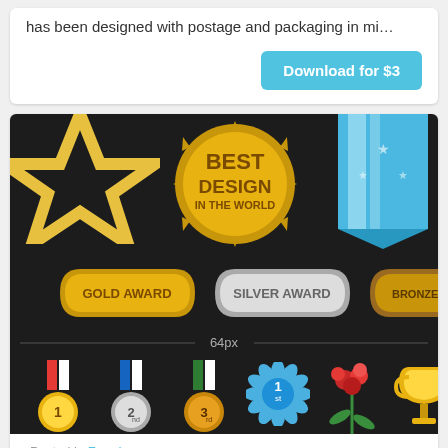has been designed with postage and packaging in mi…
Download for $3
[Figure (illustration): Awards and badges icon set on dark background. Top row: gold star outline, gold seal reading 'BEST DESIGN IN THE WORLD', blue ribbon badge. Middle row: GOLD AWARD banner, SILVER AWARD banner, BRONZE AWARD banner. Bottom section shows 64px medal icons: gold medal (1st), silver medal (2nd), bronze medal (3rd), blue rosette (1st), flower bouquet, gold trophy cup.]
Posted in Free Icons
Awards & Badges Vector Icon Pack